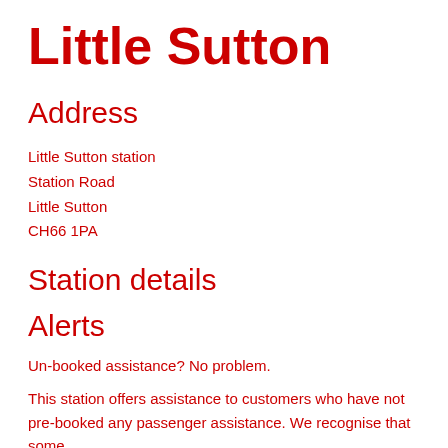Little Sutton
Address
Little Sutton station
Station Road
Little Sutton
CH66 1PA
Station details
Alerts
Un-booked assistance? No problem.
This station offers assistance to customers who have not pre-booked any passenger assistance. We recognise that some